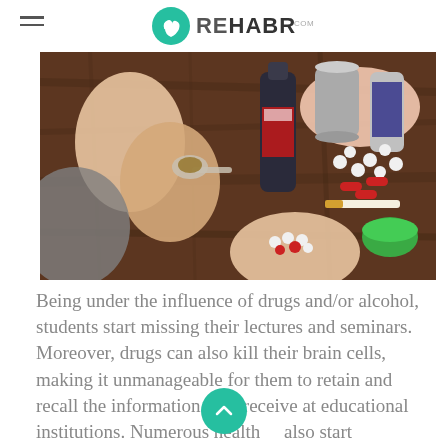REHABR.com
[Figure (photo): Overhead view of a wooden table with hands holding a spoon with drug residue, scattered pills and capsules, a cigarette, open cans and a dark bottle, and a person holding pills in their palm.]
Being under the influence of drugs and/or alcohol, students start missing their lectures and seminars. Moreover, drugs can also kill their brain cells, making it unmanageable for them to retain and recall the information they receive at educational institutions. Numerous health... also start